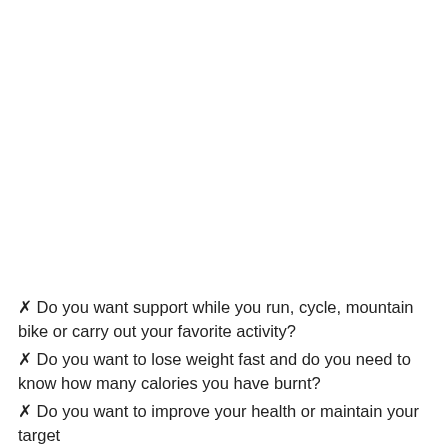❏ Do you want support while you run, cycle, mountain bike or carry out your favorite activity?
❏ Do you want to lose weight fast and do you need to know how many calories you have burnt?
❏ Do you want to improve your health or maintain your target